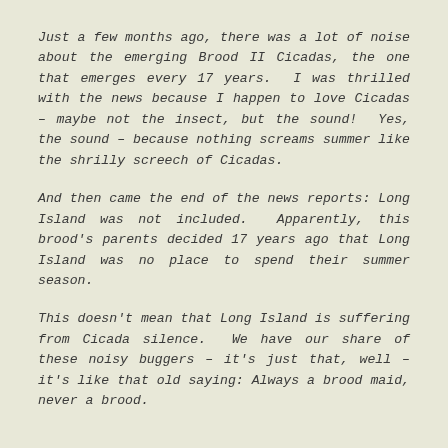Just a few months ago, there was a lot of noise about the emerging Brood II Cicadas, the one that emerges every 17 years. I was thrilled with the news because I happen to love Cicadas – maybe not the insect, but the sound! Yes, the sound – because nothing screams summer like the shrilly screech of Cicadas.
And then came the end of the news reports: Long Island was not included. Apparently, this brood's parents decided 17 years ago that Long Island was no place to spend their summer season.
This doesn't mean that Long Island is suffering from Cicada silence. We have our share of these noisy buggers – it's just that, well – it's like that old saying: Always a brood maid, never a brood.